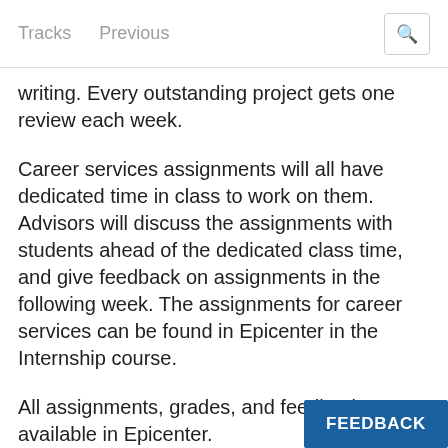Tracks   Previous
writing. Every outstanding project gets one review each week.
Career services assignments will all have dedicated time in class to work on them. Advisors will discuss the assignments with students ahead of the dedicated class time, and give feedback on assignments in the following week. The assignments for career services can be found in Epicenter in the Internship course.
All assignments, grades, and feedback are available in Epicenter.
FEEDBACK